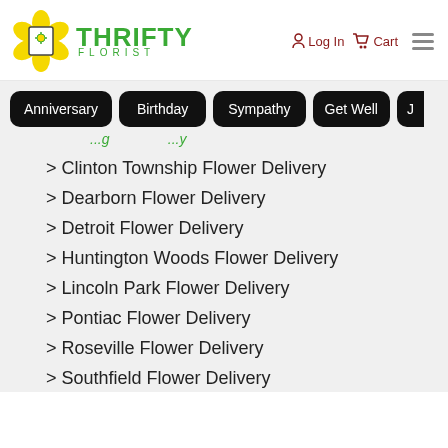[Figure (logo): Thrifty Florist logo with yellow flower graphic and green text]
Log In  Cart  [menu]
Anniversary
Birthday
Sympathy
Get Well
J...
...g...y (partial cut-off navigation text)
> Clinton Township Flower Delivery
> Dearborn Flower Delivery
> Detroit Flower Delivery
> Huntington Woods Flower Delivery
> Lincoln Park Flower Delivery
> Pontiac Flower Delivery
> Roseville Flower Delivery
> Southfield Flower Delivery